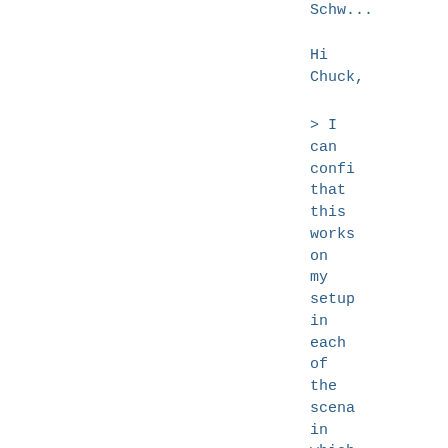Schw...
Hi Chuck,
> I can confi that this works on my setup in each of the scena in which `defa direc got set corre in the sessi buffe >